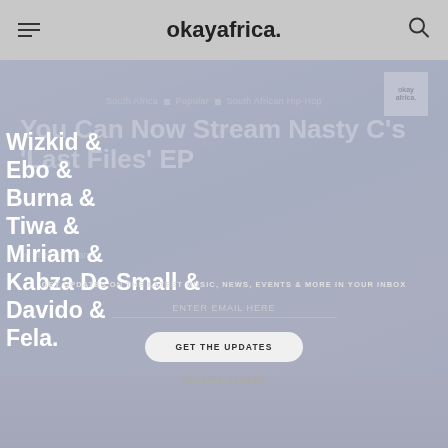okayafrica.
South Africa ■ Popular ■ South African Hip-Hop
You Can Now Stream Nasty C's 'Last Files' EP
by Sheldon Pearce
[Figure (infographic): Newsletter signup overlay with names: Wizkid & Ebo & Burna & Tiwa & Miriam & Kabza De Small & Davido & Fela. Email input, GET THE UPDATES button, DECLINE ACCESS link.]